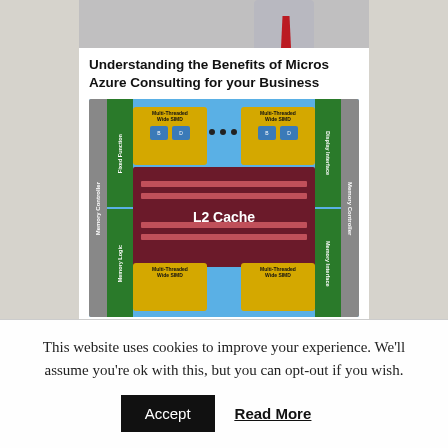[Figure (photo): Partial view of a person (cropped at top), showing shirt and red tie on a light grey background.]
Understanding the Benefits of Micros Azure Consulting for your Business
[Figure (engineering-diagram): GPU/processor architecture diagram showing Multi-Threaded Wide SIMD units (top and bottom), L2 Cache in the center (dark red/maroon), Fixed Function, Memory Logic, Display Interface, Memory Controller labels on the sides, all on a blue background with green section dividers.]
This website uses cookies to improve your experience. We'll assume you're ok with this, but you can opt-out if you wish.